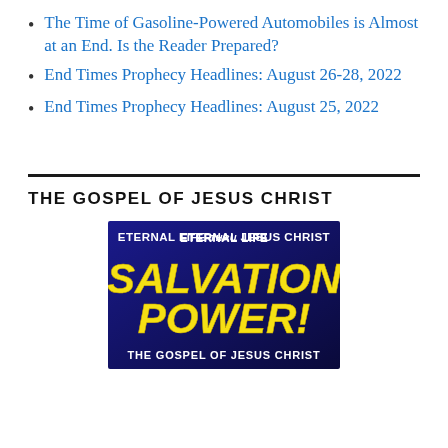The Time of Gasoline-Powered Automobiles is Almost at an End. Is the Reader Prepared?
End Times Prophecy Headlines: August 26-28, 2022
End Times Prophecy Headlines: August 25, 2022
THE GOSPEL OF JESUS CHRIST
[Figure (illustration): Graphic image with dark blue background showing text 'ETERNAL LIFE THRU JESUS CHRIST' at top, large yellow bold text 'SALVATION POWER!' in center, and white bold text 'THE GOSPEL OF JESUS CHRIST' at bottom.]